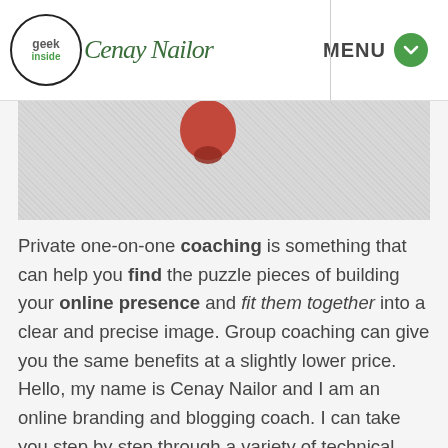Geek Inside Cenay Nailor — MENU
[Figure (photo): Partial photo showing a red object on a textured gray/white background, cropped at top]
Private one-on-one coaching is something that can help you find the puzzle pieces of building your online presence and fit them together into a clear and precise image. Group coaching can give you the same benefits at a slightly lower price. Hello, my name is Cenay Nailor and I am an online branding and blogging coach. I can take you step by step through a variety of technical